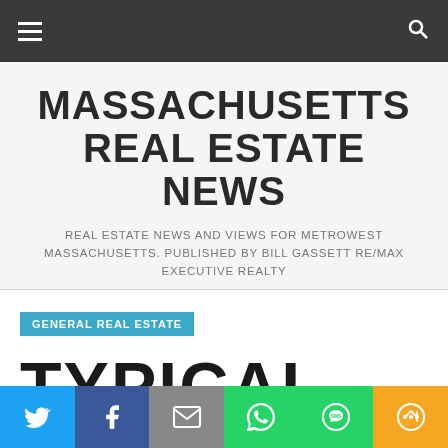Navigation bar with hamburger menu and search icon
MASSACHUSETTS REAL ESTATE NEWS
REAL ESTATE NEWS AND VIEWS FOR METROWEST MASSACHUSETTS. PUBLISHED BY BILL GASSETT RE/MAX EXECUTIVE REALTY
GENERAL REAL ESTATE
TYPICAL
Social share bar: Twitter, Facebook, Email, WhatsApp, SMS, More